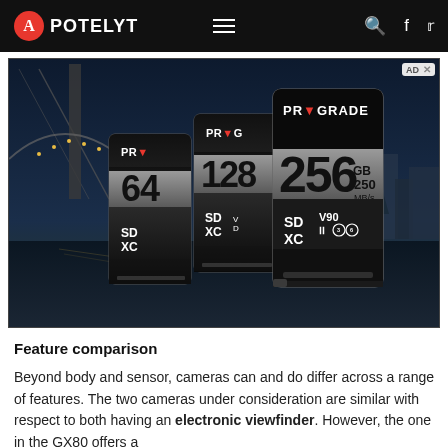APOTELYT
[Figure (photo): Advertisement showing three ProGrade SD cards (64GB, 128GB, 256GB 250MB/s V90) against a night cityscape background with a bridge]
Feature comparison
Beyond body and sensor, cameras can and do differ across a range of features. The two cameras under consideration are similar with respect to both having an electronic viewfinder. However, the one in the GX80 offers a